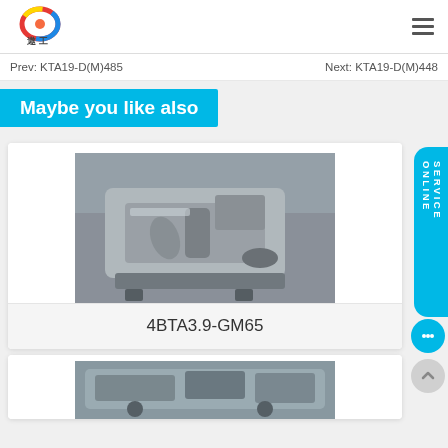[Figure (logo): Colorful swirl logo with Chinese characters below]
Prev: KTA19-D(M)485    Next: KTA19-D(M)448
Maybe you like also
[Figure (photo): Industrial marine/generator engine (4BTA3.9-GM65) on a stand in a workshop]
4BTA3.9-GM65
[Figure (photo): Second engine product partially visible at bottom of page]